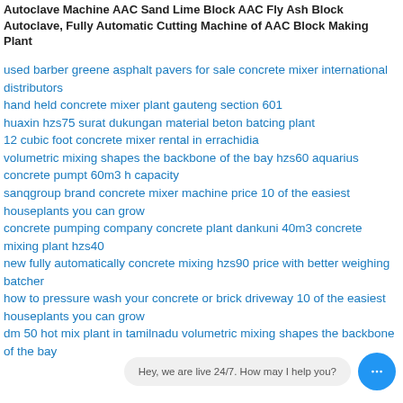Autoclave Machine AAC Sand Lime Block AAC Fly Ash Block Autoclave, Fully Automatic Cutting Machine of AAC Block Making Plant
used barber greene asphalt pavers for sale concrete mixer international distributors
hand held concrete mixer plant gauteng section 601
huaxin hzs75 surat dukungan material beton batcing plant
12 cubic foot concrete mixer rental in errachidia
volumetric mixing shapes the backbone of the bay hzs60 aquarius concrete pumpt 60m3 h capacity
sanqgroup brand concrete mixer machine price 10 of the easiest houseplants you can grow
concrete pumping company concrete plant dankuni 40m3 concrete mixing plant hzs40
new fully automatically concrete mixing hzs90 price with better weighing batcher
how to pressure wash your concrete or brick driveway 10 of the easiest houseplants you can grow
dm 50 hot mix plant in tamilnadu volumetric mixing shapes the backbone of the bay
Hey, we are live 24/7. How may I help you?